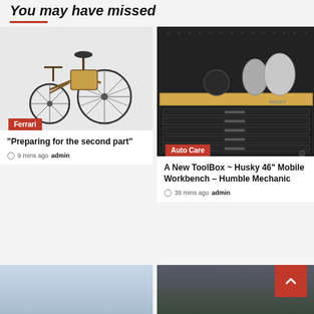You may have missed
[Figure (photo): Antique tricycle/early automobile model on white background, with Ferrari category tag]
"Preparing for the second part"
9 mins ago  admin
[Figure (photo): Black Husky 46-inch mobile workbench toolbox with tools on top, Auto Care category tag]
A New ToolBox ~ Husky 46" Mobile Workbench – Humble Mechanic
39 mins ago  admin
[Figure (photo): Partially visible photo — light blue sky]
[Figure (photo): Partially visible photo — person with helmet, greenery in background]